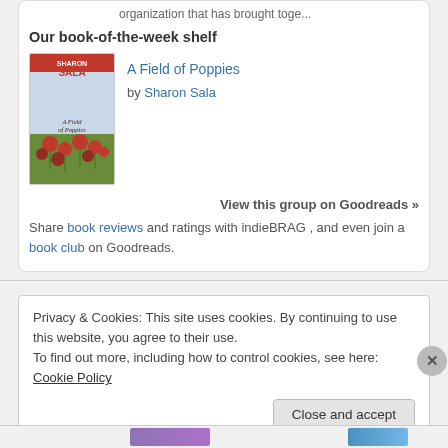organization that has brought toge...
Our book-of-the-week shelf
[Figure (illustration): Book cover for 'A Field of Poppies' by Sharon Sala — red and green cover with poppies]
A Field of Poppies
by Sharon Sala
View this group on Goodreads »
Share book reviews and ratings with indieBRAG , and even join a book club on Goodreads.
Privacy & Cookies: This site uses cookies. By continuing to use this website, you agree to their use.
To find out more, including how to control cookies, see here: Cookie Policy
Close and accept